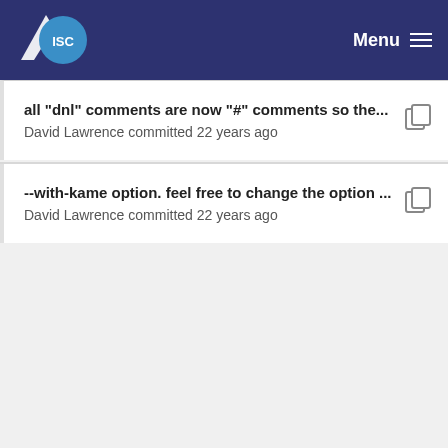ISC Menu
all "dnl" comments are now "#" comments so the... David Lawrence committed 22 years ago
--with-kame option. feel free to change the option ... David Lawrence committed 22 years ago